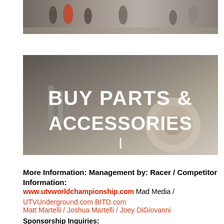[Figure (photo): Top photo showing people at a UTV racing event, outdoor scene with figures visible]
[Figure (photo): Banner image of UTV/off-road vehicle parts with text overlay reading 'BUY PARTS & ACCESSORIES' with a vertical bar below]
More Information: Management by: Racer / Competitor Information:
www.utvworldchampionship.com Mad Media / UTVUnderground.com BITD.com
Matt Martelli / Joshua Martelli / Joey DiGiovanni
Sponsorship Inquiries:
matt@madmedia.com The UTV World Championship